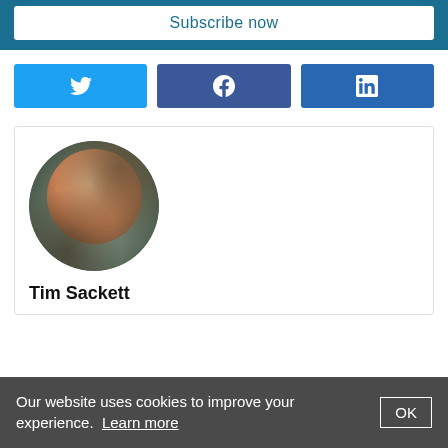Subscribe now
[Figure (other): Three social share buttons: Twitter (light blue), Facebook (dark blue), LinkedIn (dark blue) with respective icons]
[Figure (photo): Circular profile photo of Tim Sackett, a middle-aged man with short light hair, looking to the side, against a dark green background]
Tim Sackett
Our website uses cookies to improve your experience. Learn more